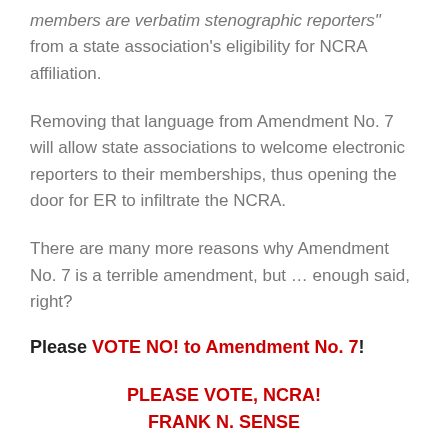members are verbatim stenographic reporters" from a state association's eligibility for NCRA affiliation.
Removing that language from Amendment No. 7 will allow state associations to welcome electronic reporters to their memberships, thus opening the door for ER to infiltrate the NCRA.
There are many more reasons why Amendment No. 7 is a terrible amendment, but … enough said, right?
Please VOTE NO! to Amendment No. 7!
PLEASE VOTE, NCRA!
FRANK N. SENSE
P.S.  Please send this to ten NCRA members so that they